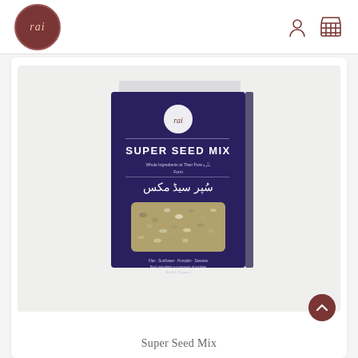rai
[Figure (photo): Product photo of a navy blue box labeled 'SUPER SEED MIX' with rai logo, Arabic text, and a transparent window showing mixed seeds inside. White/light grey background.]
Super Seed Mix